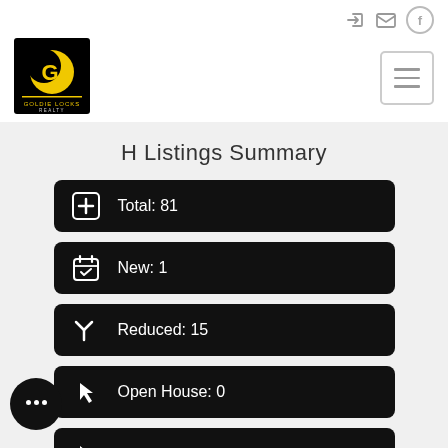[Figure (logo): Goldie Locks Realty logo — black square with yellow crescent moon and 'G' letter, text 'GOLDIE LOCKS REALTY' below]
H Listings Summary
Total: 81
New: 1
Reduced: 15
Open House: 0